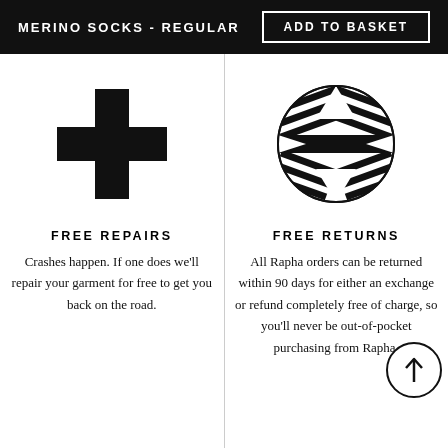MERINO SOCKS - REGULAR | ADD TO BASKET
[Figure (illustration): Black plus/cross medical symbol icon]
FREE REPAIRS
Crashes happen. If one does we'll repair your garment for free to get you back on the road.
[Figure (logo): Rapha circular geometric stripe logo]
FREE RETURNS
All Rapha orders can be returned within 90 days for either an exchange or refund completely free of charge, so you'll never be out-of-pocket purchasing from Rapha.